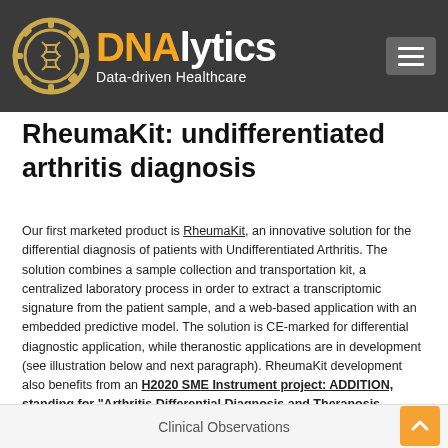DNAlytics - Data-driven Healthcare
RheumaKit: undifferentiated arthritis diagnosis
Our first marketed product is RheumaKit, an innovative solution for the differential diagnosis of patients with Undifferentiated Arthritis. The solution combines a sample collection and transportation kit, a centralized laboratory process in order to extract a transcriptomic signature from the patient sample, and a web-based application with an embedded predictive model. The solution is CE-marked for differential diagnostic application, while theranostic applications are in development (see illustration below and next paragraph). RheumaKit development also benefits from an H2020 SME Instrument project: ADDITION, standing for "Arthritis Differential Diagnosis and Theranosis validatION".
Clinical Observations